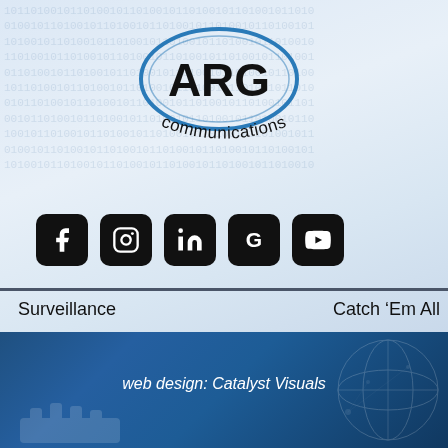[Figure (logo): ARG Communications logo — stylized oval with blue ellipse outline, bold black 'ARG' text inside, and 'communications' in curved black text below]
[Figure (infographic): Row of five social media icon buttons (Facebook, Instagram, LinkedIn, Google, YouTube) in black rounded squares, plus a blue hamburger menu button on the right]
Surveillance
Catch ‘Em All →
web design: Catalyst Visuals